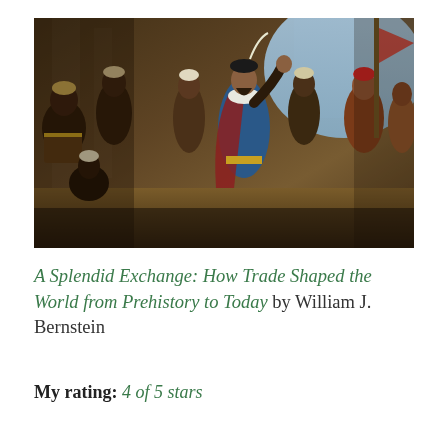[Figure (illustration): A historical oil painting depicting a scene of trade or diplomatic exchange. A bearded man in blue and red Renaissance-era clothing gestures upward with one hand, surrounded by a crowd of figures including men in turbans and other period dress, set in an ornate architectural interior.]
A Splendid Exchange: How Trade Shaped the World from Prehistory to Today by William J. Bernstein
My rating: 4 of 5 stars